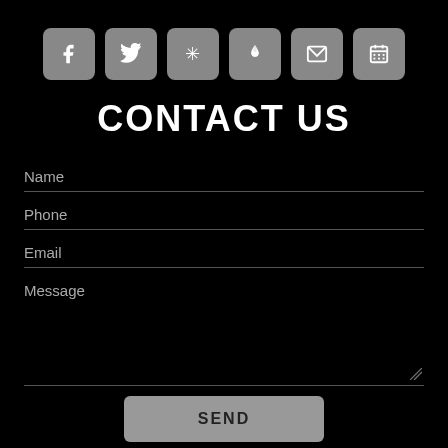[Figure (illustration): Row of six social media / contact icon buttons with gray rounded square backgrounds and white icons: Facebook (f), Twitter (bird), Yelp (flower/asterisk), flame/fire icon, email/envelope, calendar]
CONTACT US
Name
Phone
Email
Message
SEND